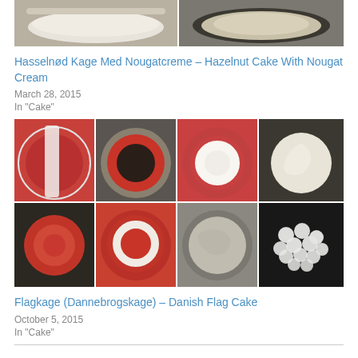[Figure (photo): Two photos side by side showing baking steps: left is a white bowl with flour mixture, right is a round cake pan with batter on a dark surface.]
Hasselnød Kage Med Nougatcreme – Hazelnut Cake With Nougat Cream
March 28, 2015
In "Cake"
[Figure (photo): Eight-panel photo collage showing steps for making Flagkage (Danish Flag Cake): red velvet cake layers being assembled with white cream filling in a round pan, finished with decorative white cream rosettes on top.]
Flagkage (Dannebrogskage) – Danish Flag Cake
October 5, 2015
In "Cake"